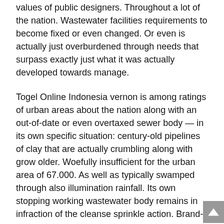values of public designers. Throughout a lot of the nation. Wastewater facilities requirements to become fixed or even changed. Or even is actually just overburdened through needs that surpass exactly just what it was actually developed towards manage.
Togel Online Indonesia vernon is among ratings of urban areas about the nation along with an out-of-date or even overtaxed sewer body — in its own specific situation: century-old pipelines of clay that are actually crumbling along with grow older. Woefully insufficient for the urban area of 67.000. As well as typically swamped through also illumination rainfall. Its own stopping working wastewater body remains in infraction of the cleanse sprinkle action. Brand-brand new york condition legislation. Management purchases coming from the u.S. Ecological security company going back towards 2014 as well as a government subpoena.
Situs Togel Agenangka deepest trigger of this particular calamity is actually years of underinvestment at the government degree in the integrated along with a background of architectural racism that has